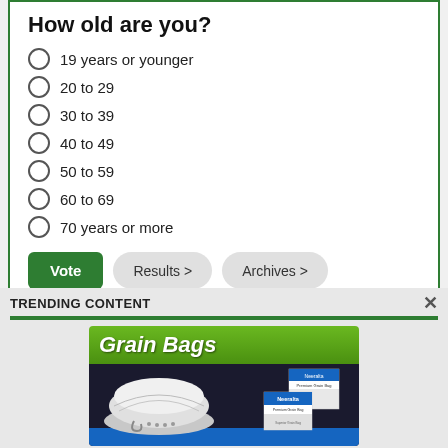How old are you?
19 years or younger
20 to 29
30 to 39
40 to 49
50 to 59
60 to 69
70 years or more
TRENDING CONTENT
[Figure (photo): Advertisement banner for Grain Bags product by Neeralta, showing a large white grain bag on dark background with green header and product boxes]